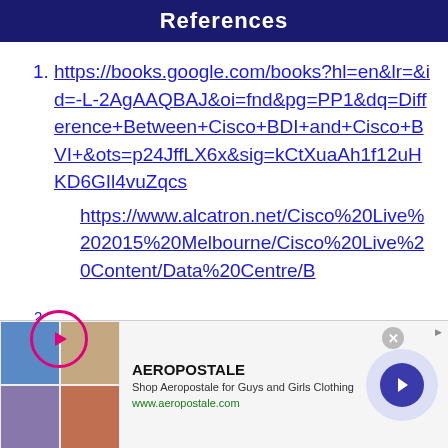References
https://books.google.com/books?hl=en&lr=&id=-L-2AgAAQBAJ&oi=fnd&pg=PP1&dq=Difference+Between+Cisco+BDI+and+Cisco+BVI+&ots=p24JffLX6x&sig=kCtXuaAh1f12uHKD6GIl4vuZqcs
https://www.alcatron.net/Cisco%20Live%202015%20Melbourne/Cisco%20Live%20Content/Data%20Centre/B